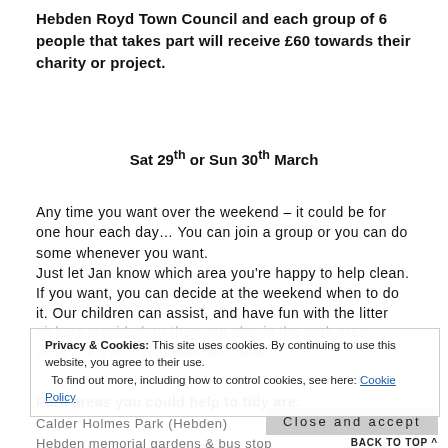Hebden Royd Town Council and each group of 6 people that takes part will receive £60 towards their charity or project.
Sat 29th or Sun 30th March
Any time you want over the weekend – it could be for one hour each day… You can join a group or you can do some whenever you want.
Just let Jan know which area you're happy to help clean. If you want, you can decide at the weekend when to do it. Our children can assist, and have fun with the litter pickers provided, or they can play in the park areas while the event volunteer are there!
Privacy & Cookies: This site uses cookies. By continuing to use this website, you agree to their use.
To find out more, including how to control cookies, see here: Cookie Policy
Park areas you could help to tidy are:
Calder Holmes Park (Hebden)
Hebden memorial gardens & bus stop
BACK TO TOP ^